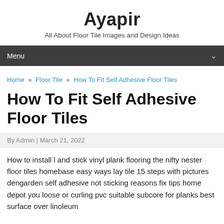Ayapir
All About Floor Tile Images and Design Ideas
Menu
Home » Floor Tile » How To Fit Self Adhesive Floor Tiles
How To Fit Self Adhesive Floor Tiles
By Admin | March 21, 2022
How to install l and stick vinyl plank flooring the nifty nester floor tiles homebase easy ways lay tile 15 steps with pictures dengarden self adhesive not sticking reasons fix tips home depot you loose or curling pvc suitable subcore for planks best surface over linoleum